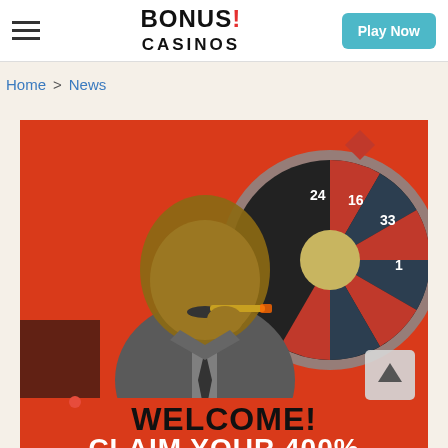BONUS! CASINOS | Play Now
Home > News
[Figure (photo): Casino promotional banner showing a bald man in a suit smoking a cigar in front of a roulette wheel with red background. Text reads WELCOME! CLAIM YOUR 400%]
WELCOME! CLAIM YOUR 400%